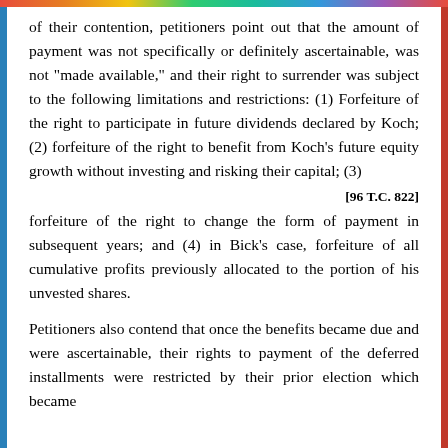of their contention, petitioners point out that the amount of payment was not specifically or definitely ascertainable, was not "made available," and their right to surrender was subject to the following limitations and restrictions: (1) Forfeiture of the right to participate in future dividends declared by Koch; (2) forfeiture of the right to benefit from Koch's future equity growth without investing and risking their capital; (3)
[96 T.C. 822]
forfeiture of the right to change the form of payment in subsequent years; and (4) in Bick's case, forfeiture of all cumulative profits previously allocated to the portion of his unvested shares.
Petitioners also contend that once the benefits became due and were ascertainable, their rights to payment of the deferred installments were restricted by their prior election which became